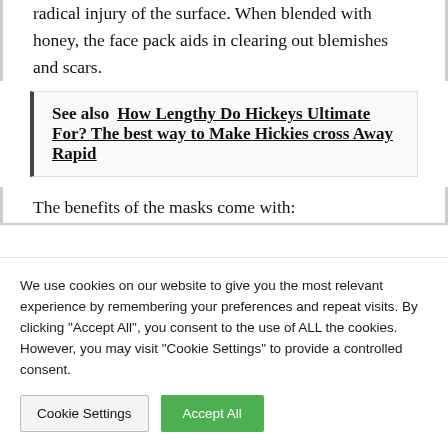radical injury of the surface. When blended with honey, the face pack aids in clearing out blemishes and scars.
See also  How Lengthy Do Hickeys Ultimate For? The best way to Make Hickies cross Away Rapid
The benefits of the masks come with:
We use cookies on our website to give you the most relevant experience by remembering your preferences and repeat visits. By clicking "Accept All", you consent to the use of ALL the cookies. However, you may visit "Cookie Settings" to provide a controlled consent.